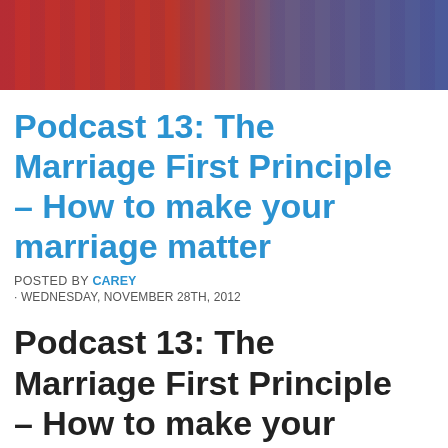[Figure (photo): Photo of two people, one in red top and one in plaid shirt, cropped to show torsos/arms]
Podcast 13: The Marriage First Principle – How to make your marriage matter
POSTED BY CAREY · WEDNESDAY, NOVEMBER 28TH, 2012
Podcast 13: The Marriage First Principle – How to make your marriage matter